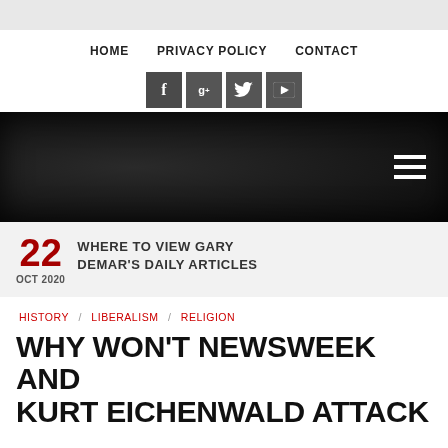HOME  PRIVACY POLICY  CONTACT
[Figure (screenshot): Social media icon buttons: Facebook (f), Google+ (g+), Twitter bird, YouTube]
[Figure (photo): Dark/black hero banner image with hamburger menu icon on the right]
22  WHERE TO VIEW GARY DEMAR'S DAILY ARTICLES  OCT 2020
HISTORY / LIBERALISM / RELIGION
WHY WON'T NEWSWEEK AND KURT EICHENWALD ATTACK